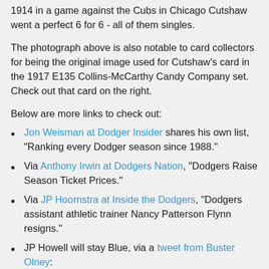1914 in a game against the Cubs in Chicago Cutshaw went a perfect 6 for 6 - all of them singles.
The photograph above is also notable to card collectors for being the original image used for Cutshaw's card in the 1917 E135 Collins-McCarthy Candy Company set.  Check out that card on the right.
Below are more links to check out:
Jon Weisman at Dodger Insider shares his own list, "Ranking every Dodger season since 1988."
Via Anthony Irwin at Dodgers Nation, "Dodgers Raise Season Ticket Prices."
Via JP Hoornstra at Inside the Dodgers, "Dodgers assistant athletic trainer Nancy Patterson Flynn resigns."
JP Howell will stay Blue, via a tweet from Buster Olney:
[Figure (screenshot): Tweet embed showing Buster Olney verified Twitter account with avatar photo and blue Twitter bird icon]